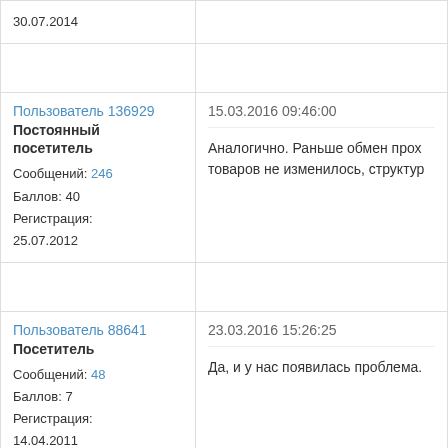| User | Post |
| --- | --- |
| 30.07.2014 |  |
| Пользователь 136929
Постоянный посетитель
Сообщений: 246
Баллов: 40
Регистрация: 25.07.2012 | 15.03.2016 09:46:00
Аналогично. Раньше обмен прох...
товаров не изменилось, структур... |
| Пользователь 88641
Посетитель
Сообщений: 48
Баллов: 7
Регистрация: 14.04.2011 | 23.03.2016 15:26:25
Да, и у нас появилась проблема. |